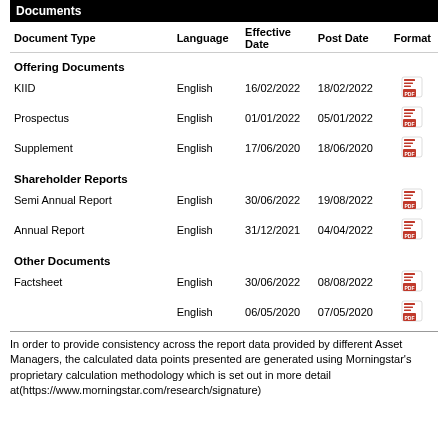| Document Type | Language | Effective Date | Post Date | Format |
| --- | --- | --- | --- | --- |
| Offering Documents |  |  |  |  |
| KIID | English | 16/02/2022 | 18/02/2022 | [PDF] |
| Prospectus | English | 01/01/2022 | 05/01/2022 | [PDF] |
| Supplement | English | 17/06/2020 | 18/06/2020 | [PDF] |
| Shareholder Reports |  |  |  |  |
| Semi Annual Report | English | 30/06/2022 | 19/08/2022 | [PDF] |
| Annual Report | English | 31/12/2021 | 04/04/2022 | [PDF] |
| Other Documents |  |  |  |  |
| Factsheet | English | 30/06/2022 | 08/08/2022 | [PDF] |
|  | English | 06/05/2020 | 07/05/2020 | [PDF] |
In order to provide consistency across the report data provided by different Asset Managers, the calculated data points presented are generated using Morningstar's proprietary calculation methodology which is set out in more detail at(https://www.morningstar.com/research/signature)